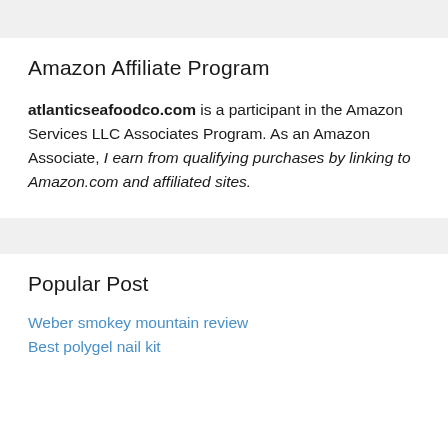Amazon Affiliate Program
atlanticseafoodco.com is a participant in the Amazon Services LLC Associates Program. As an Amazon Associate, I earn from qualifying purchases by linking to Amazon.com and affiliated sites.
Popular Post
Weber smokey mountain review
Best polygel nail kit